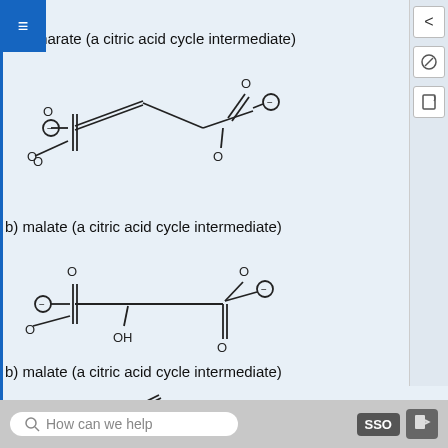all stereocenters.
a) fumarate (a citric acid cycle intermediate)
[Figure (illustration): Chemical structure of fumarate: a trans-butenedioate dianion. Shows two carboxylate groups (COO-) connected by a trans double bond (C=C). Left carboxylate has O- and two O's, right carboxylate has O- and two O's with a double bond O below.]
b) malate (a citric acid cycle intermediate)
[Figure (illustration): Chemical structure of malate: 2-hydroxybutanedioate dianion. Shows left carboxylate (COO-), a carbon with OH group, a CH2, and right carboxylate (COO-). OH group shown below the carbon chain.]
b) malate (a citric acid cycle intermediate)
[Figure (illustration): Bottom of malate structure showing O and OH groups partially visible.]
How can we help   SSO